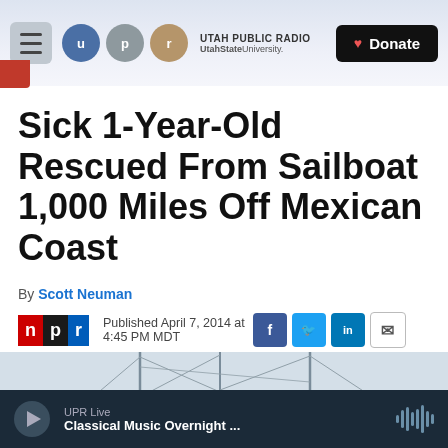Utah Public Radio — UtahState University. | Donate
Sick 1-Year-Old Rescued From Sailboat 1,000 Miles Off Mexican Coast
By Scott Neuman
Published April 7, 2014 at 4:45 PM MDT
[Figure (photo): Sailboat masts against a grey sky]
UPR Live — Classical Music Overnight ...